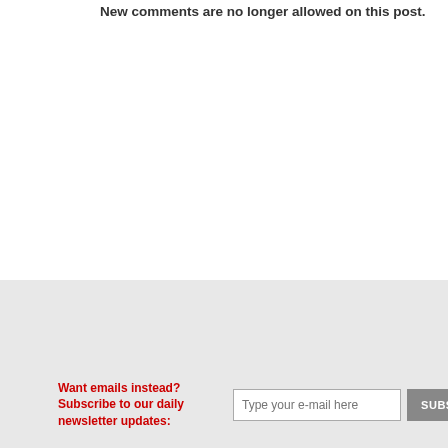New comments are no longer allowed on this post.
Want emails instead? Subscribe to our daily newsletter updates: